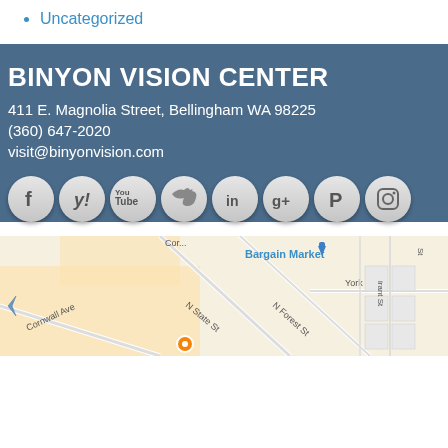Uncategorized
BINYON VISION CENTER
411 E. Magnolia Street, Bellingham WA 98225
(360) 647-2020
visit@binyonvision.com
[Figure (infographic): Row of 8 social media icon circles: Facebook, Yelp, YouTube, Twitter, LinkedIn, Google+, Pinterest, Instagram]
[Figure (map): Google Maps screenshot showing the area around 411 E. Magnolia Street, Bellingham WA, with Cornwall Ave, N State St, N Forest St, York St visible, and a location pin marker.]